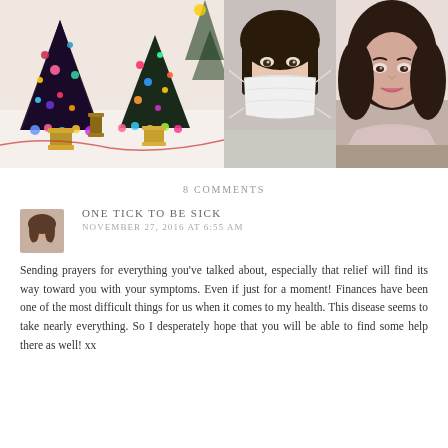[Figure (photo): Three-panel photo strip: left panel shows colorful decorative Christmas trees made of fabric with pom-poms on wooden thread spool bases; center panel shows a person wearing a white face mask (selfie); right panel shows a woman with dark hair in a car (selfie).]
8 COMMENTS
[Figure (photo): Small avatar photo of a woman with brown hair]
ONE TICK TO BE SICK
NOVEMBER 27, 2016 AT 6:55 AM
Sending prayers for everything you've talked about, especially that relief will find its way toward you with your symptoms. Even if just for a moment! Finances have been one of the most difficult things for us when it comes to my health. This disease seems to take nearly everything. So I desperately hope that you will be able to find some help there as well! xx